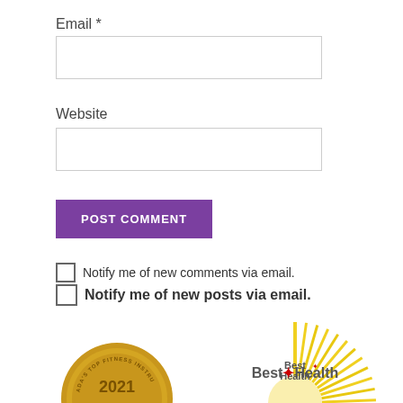Email *
Website
POST COMMENT
Notify me of new comments via email.
Notify me of new posts via email.
[Figure (illustration): Canada's Top Fitness Instructor 2021 Nominated gold seal badge (partially visible at bottom left)]
[Figure (illustration): Best Health sunburst logo badge (partially visible at bottom right)]